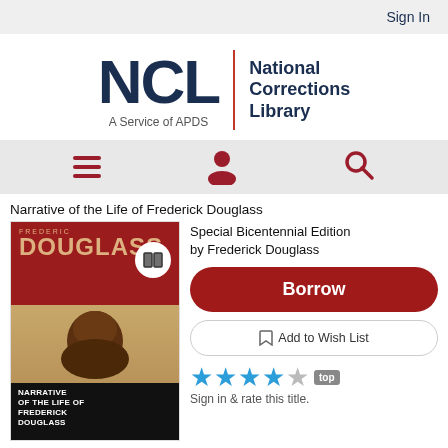Sign In
[Figure (logo): NCL National Corrections Library logo with red divider and tagline 'A Service of APDS']
[Figure (infographic): Navigation bar with hamburger menu, user profile icon, and search icon in dark red]
Narrative of the Life of Frederick Douglass
[Figure (photo): Book cover of Narrative of the Life of Frederick Douglass with portrait]
Special Bicentennial Edition by Frederick Douglass
Borrow
Add to Wish List
Sign in & rate this title.